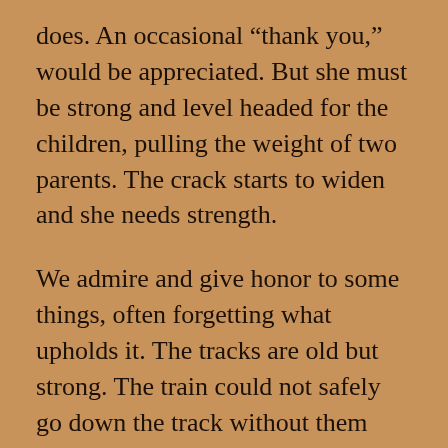does. An occasional “thank you,” would be appreciated. But she must be strong and level headed for the children, pulling the weight of two parents. The crack starts to widen and she needs strength.

We admire and give honor to some things, often forgetting what upholds it. The tracks are old but strong. The train could not safely go down the track without them being tested often. But no one gives recognition to them or takes pictures of them: after all, they’re not seen as anything special, and no one recognizes that it is their sturdiness and reliability that keeps the train going.

The husband works hard, but doesn’t give a thought to his clean clothes, his clean bed,